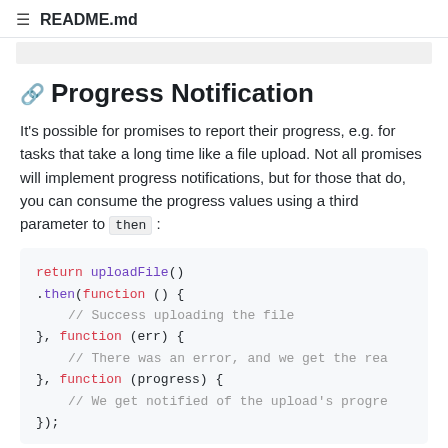☰ README.md
🔗 Progress Notification
It's possible for promises to report their progress, e.g. for tasks that take a long time like a file upload. Not all promises will implement progress notifications, but for those that do, you can consume the progress values using a third parameter to then:
return uploadFile()
.then(function () {
    // Success uploading the file
}, function (err) {
    // There was an error, and we get the rea
}, function (progress) {
    // We get notified of the upload's progre
});